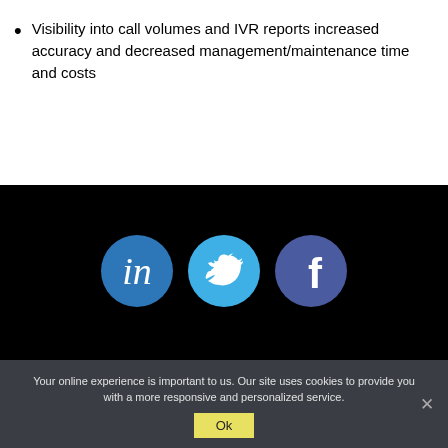Visibility into call volumes and IVR reports increased accuracy and decreased management/maintenance time and costs
[Figure (illustration): Three social media icons on black background: LinkedIn (blue circle with 'in'), Twitter (light blue circle with bird), Facebook (dark blue circle with 'f')]
Your online experience is important to us. Our site uses cookies to provide you with a more responsive and personalized service.